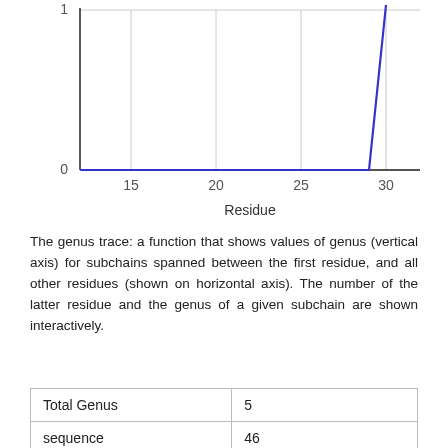[Figure (continuous-plot): Genus trace line chart. X-axis labeled 'Residue' with ticks at 15, 20, 25, 30. Y-axis ticks at 0 and 1. The line stays flat at 0 from residue ~12 to ~29, then rises sharply upward near residue 29-30, continuing off the top of the chart.]
The genus trace: a function that shows values of genus (vertical axis) for subchains spanned between the first residue, and all other residues (shown on horizontal axis). The number of the latter residue and the genus of a given subchain are shown interactively.
| Total Genus | 5 |
| sequence length | 46 |